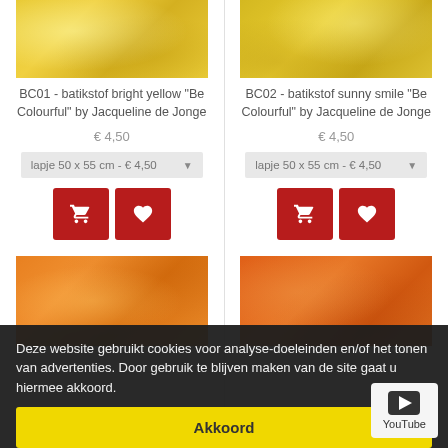[Figure (photo): Bright yellow batik fabric swatch]
BC01 - batikstof bright yellow "Be Colourful" by Jacqueline de Jonge
€ 4,50
lapje 50 x 55 cm - € 4,50
[Figure (photo): Sunny yellow batik fabric swatch]
BC02 - batikstof sunny smile "Be Colourful" by Jacqueline de Jonge
€ 4,50
lapje 50 x 55 cm - € 4,50
[Figure (photo): Orange batik fabric swatch]
[Figure (photo): Deep orange batik fabric swatch]
Deze website gebruikt cookies voor analyse-doeleinden en/of het tonen van advertenties.  Door gebruik te blijven maken van de site gaat u hiermee akkoord.
Akkoord
YouTube